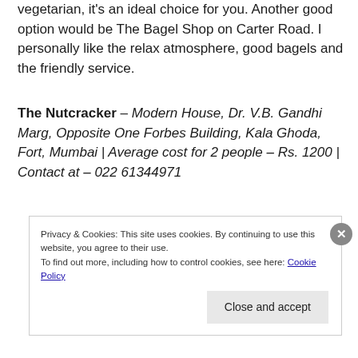vegetarian, it's an ideal choice for you. Another good option would be The Bagel Shop on Carter Road. I personally like the relax atmosphere, good bagels and the friendly service.
The Nutcracker – Modern House, Dr. V.B. Gandhi Marg, Opposite One Forbes Building, Kala Ghoda, Fort, Mumbai | Average cost for 2 people – Rs. 1200 | Contact at – 022 61344971
Privacy & Cookies: This site uses cookies. By continuing to use this website, you agree to their use. To find out more, including how to control cookies, see here: Cookie Policy